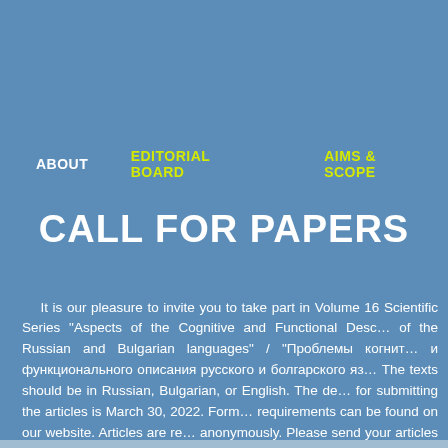ABOUT   EDITORIAL BOARD   AIMS & SCOPE
CALL FOR PAPERS
It is our pleasure to invite you to take part in Volume 16 Scientific Series "Aspects of the Cognitive and Functional Description of the Russian and Bulgarian languages" / "Проблемы когнитивного и функционального описания русского и болгарского языков". The texts should be in Russian, Bulgarian, or English. The deadline for submitting the articles is March 30, 2022. Formatting requirements can be found on our website. Articles are reviewed anonymously. Please send your articles to: rusistika_shu@shu...